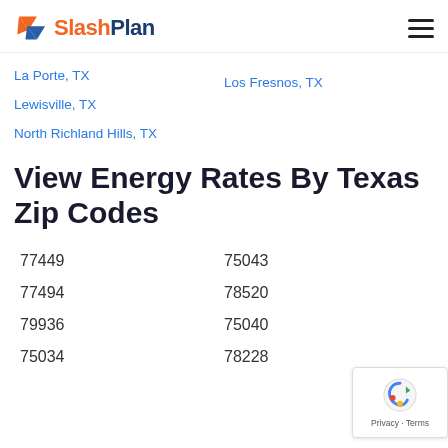SlashPlan
La Porte, TX
Los Fresnos, TX
Lewisville, TX
North Richland Hills, TX
View Energy Rates By Texas Zip Codes
75043
77449
78520
77494
75040
79936
78228
75034